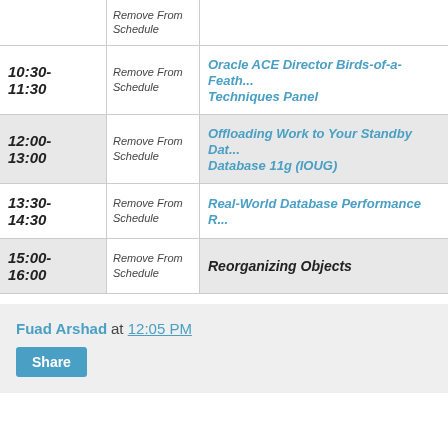| Time | Action | Session |
| --- | --- | --- |
|  | Remove From Schedule |  |
| 10:30-11:30 | Remove From Schedule | Oracle ACE Director Birds-of-a-Feather Techniques Panel |
| 12:00-13:00 | Remove From Schedule | Offloading Work to Your Standby Database 11g (IOUG) |
| 13:30-14:30 | Remove From Schedule | Real-World Database Performance Re... |
| 15:00-16:00 | Remove From Schedule | Reorganizing Objects |
Fuad Arshad at 12:05 PM
Share